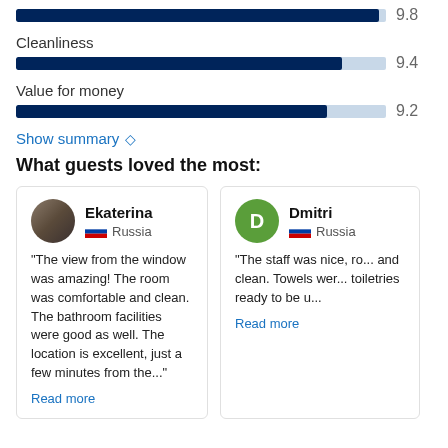[Figure (bar-chart): Rating bars]
Show summary ◇
What guests loved the most:
Ekaterina
Russia
"The view from the window was amazing! The room was comfortable and clean. The bathroom facilities were good as well. The location is excellent, just a few minutes from the..."
Read more
Dmitri
Russia
"The staff was nice, ro... and clean. Towels wer... toiletries ready to be u..."
Read more